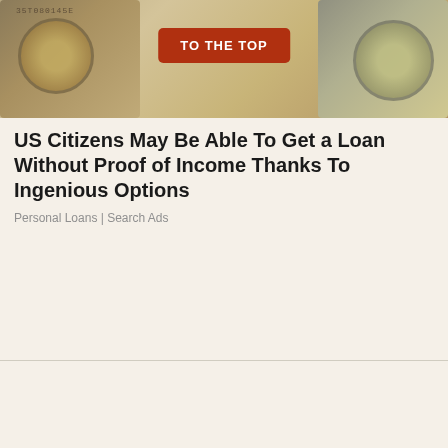[Figure (photo): Photo of US dollar bills with a red button overlay labeled 'TO THE TOP']
US Citizens May Be Able To Get a Loan Without Proof of Income Thanks To Ingenious Options
Personal Loans | Search Ads